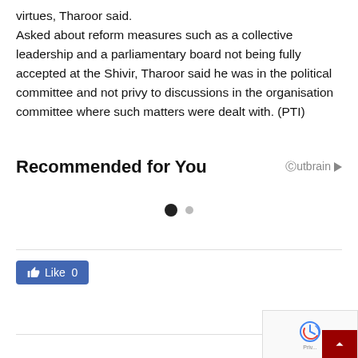virtues, Tharoor said. Asked about reform measures such as a collective leadership and a parliamentary board not being fully accepted at the Shivir, Tharoor said he was in the political committee and not privy to discussions in the organisation committee where such matters were dealt with. (PTI)
Recommended for You
[Figure (other): Outbrain logo with play triangle icon]
[Figure (other): Carousel navigation dots - one filled black dot and one smaller gray dot]
[Figure (other): Facebook Like button showing 'Like 0']
[Figure (other): reCAPTCHA logo box with Priv label and dark red scroll-to-top arrow button]